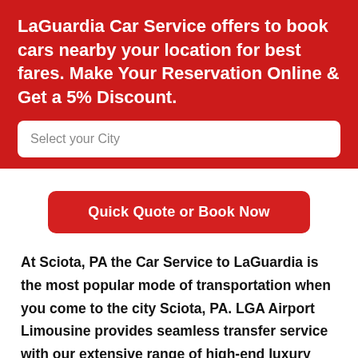LaGuardia Car Service offers to book cars nearby your location for best fares. Make Your Reservation Online & Get a 5% Discount.
Select your City
Quick Quote or Book Now
At Sciota, PA the Car Service to LaGuardia is the most popular mode of transportation when you come to the city Sciota, PA. LGA Airport Limousine provides seamless transfer service with our extensive range of high-end luxury fleet starting from the sedan, SUVs, luxury vans, and limousines. With Car Service LaGuardia for your service, we